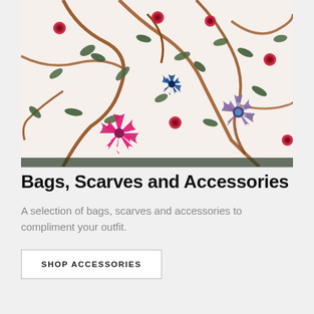[Figure (photo): Close-up photo of a floral patterned fabric bag with colorful embroidered flowers including large pink/magenta chrysanthemum-like blooms, small red roses, green leaves, and brown branching vines on a white background.]
Bags, Scarves and Accessories
A selection of bags, scarves and accessories to compliment your outfit.
SHOP ACCESSORIES